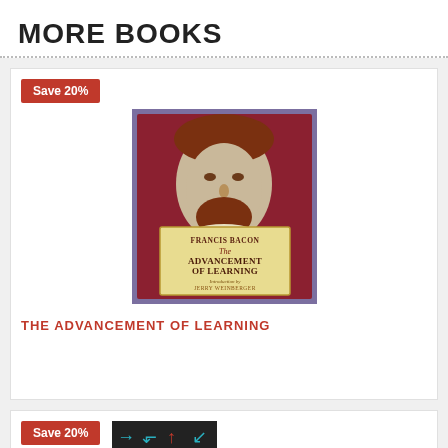MORE BOOKS
[Figure (photo): Book cover of 'The Advancement of Learning' by Francis Bacon, featuring an engraved portrait of a bearded man and a yellow title panel]
Save 20%
THE ADVANCEMENT OF LEARNING
Save 20%
[Figure (photo): Book cover with colorful arrow pattern in red, blue and teal]